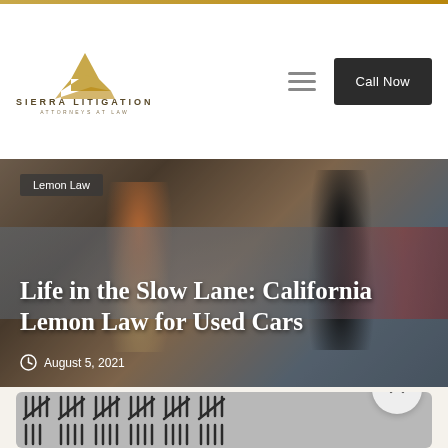Sierra Litigation - Attorneys at Law
Life in the Slow Lane: California Lemon Law for Used Cars
Lemon Law
August 5, 2021
[Figure (photo): Background image showing two people near a car, used as hero banner for blog post about California Lemon Law for Used Cars]
[Figure (photo): Gray card with tally mark illustrations at the bottom of the page]